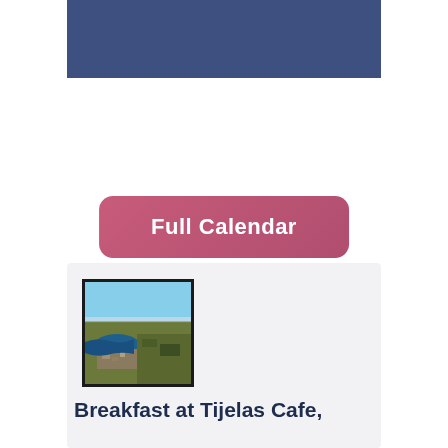[Figure (other): Blue banner rectangle at top of page]
Full Calendar
[Figure (photo): Aerial photograph showing a coastal or lake area with blue water, urban development, and landscape viewed from above]
Breakfast at Tijelas Cafe,